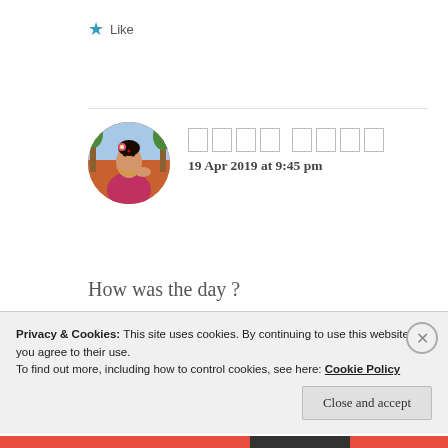Like
19 Apr 2019 at 9:45 pm
How was the day ?
Like
Privacy & Cookies: This site uses cookies. By continuing to use this website, you agree to their use.
To find out more, including how to control cookies, see here: Cookie Policy
Close and accept